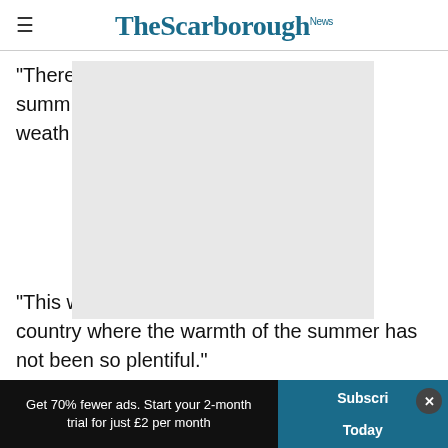The Scarborough News
“There [obscured] ndian summe [obscured] weath [obscured]
[Figure (other): Grey overlay/advertisement block covering part of article text]
“This w [obscured] of the country where the warmth of the summer has not been so plentiful.”
As we move into the autumn months, we expect temperatures to get cooler, not warmer, which i
Get 70% fewer ads. Start your 2-month trial for just £2 per month | Subscribe Today